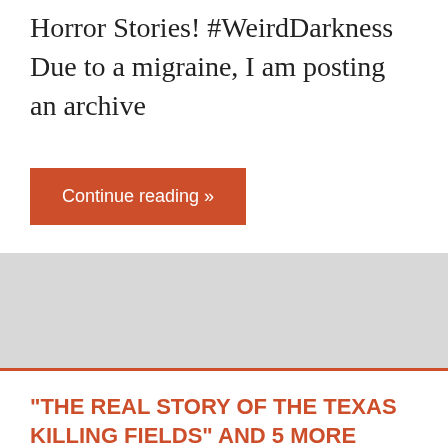Horror Stories! #WeirdDarkness Due to a migraine, I am posting an archive
Continue reading »
“THE REAL STORY OF THE TEXAS KILLING FIELDS” AND 5 MORE TRUE HORROR STORIES! #WEIRDDARKNESS
June 13, 2018   Darren Marlar   DARREN'S BLOG
“The Real Story of the Texas Killing Fields” and 5 More True Horror Stories! #WeirdDarkness If you like what you